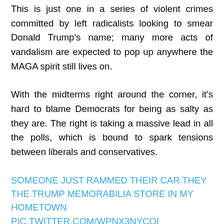This is just one in a series of violent crimes committed by left radicalists looking to smear Donald Trump's name; many more acts of vandalism are expected to pop up anywhere the MAGA spirit still lives on.
With the midterms right around the corner, it's hard to blame Democrats for being as salty as they are. The right is taking a massive lead in all the polls, which is bound to spark tensions between liberals and conservatives.
SOMEONE JUST RAMMED THEIR CAR THEY THE TRUMP MEMORABILIA STORE IN MY HOMETOWN PIC.TWITTER.COM/WPNX3NYCQI